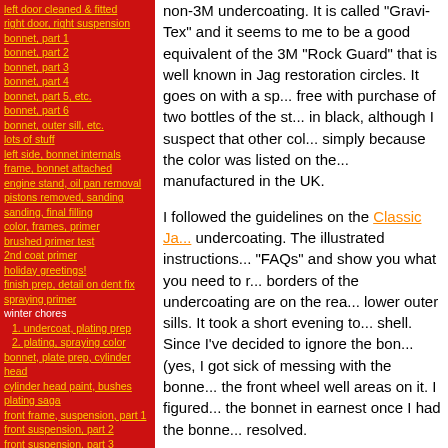left door cleaned & fitted
right door, right suspension
bonnet, part 1
bonnet, part 2
bonnet, part 3
bonnet, part 4
bonnet, part 5, etc.
bonnet, part 6
bonnet, outer sill, etc.
lots of stuff
left side, bonnet internals
frame, bonnet attached
engine stand, oil pan removal
pistons removed, sanding
sanding, final filling
color, frames, primer
brushed primer test
2nd coat primer
holiday greetings!
finish prep, detail on dent fix
spraying primer
winter chores
1. undercoat, plating prep
2. plating, spraying color
bonnet, plate prep, cylinder head
cylinder head paint, bushes
plating saga
front frame, suspension, part 1
front suspension, part 2
front suspension, part 3
priming and painting
bonnet, part 7
painting color!
boot lid, steering wheel
gas tank
winter chores
1. firewall sundry
2. front suspension
3. steering setup
4. master cylinders/pedals
5. the rest
non-3M undercoating. It is called "Gravi-Tex" and it seems to me to be a good equivalent of the 3M "Rock Guard" that is well known in Jag restoration circles. It goes on with a sp... free with purchase of two bottles of the st... in black, although I suspect that other col... simply because the color was listed on the... manufactured in the UK.
I followed the guidelines on the Classic Ja... undercoating. The illustrated instructions... "FAQs" and show you what you need to r... borders of the undercoating are on the rea... lower outer sills. It took a short evening to... shell. Since I've decided to ignore the bon... (yes, I got sick of messing with the bonne... the front wheel well areas on it. I figured... the bonnet in earnest once I had the bonne... resolved.
I went about two and a quarter inches up f... bottom of the outer sill and followed the p... Classic Jaguar web site for the border on t... notches in the bottom that meet the wheel... Your masking will almost bisect the hol...